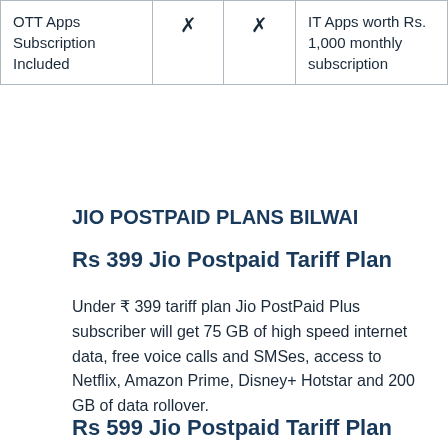| OTT Apps Subscription Included |  |  | IT Apps worth Rs. 1,000 monthly subscription |
| --- | --- | --- | --- |
| OTT Apps Subscription Included | ✗ | ✗ | IT Apps worth Rs. 1,000 monthly subscription |
JIO POSTPAID PLANS BILWAI
Rs 399 Jio Postpaid Tariff Plan
Under ₹ 399 tariff plan Jio PostPaid Plus subscriber will get 75 GB of high speed internet data, free voice calls and SMSes, access to Netflix, Amazon Prime, Disney+ Hotstar and 200 GB of data rollover.
Rs 599 Jio Postpaid Tariff Plan